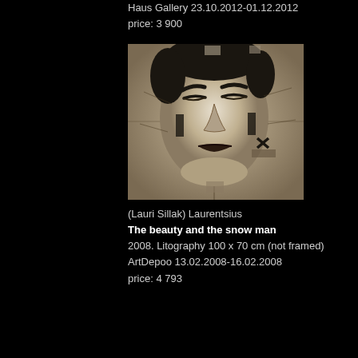Haus Gallery 23.10.2012-01.12.2012
price: 3 900
[Figure (photo): Black and white lithography portrait of a woman's face on a textured, aged background with abstract markings]
(Lauri Sillak) Laurentsius
The beauty and the snow man
2008. Litography 100 x 70 cm (not framed)
ArtDepoo 13.02.2008-16.02.2008
price: 4 793